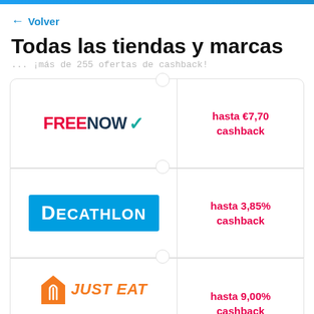← Volver
Todas las tiendas y marcas
... ¡más de 255 ofertas de cashback!
[Figure (logo): FREENOW logo with red FREE and dark NOW text plus teal checkmark]
hasta €7,70 cashback
[Figure (logo): DECATHLON logo in white text on blue background]
hasta 3,85% cashback
[Figure (logo): JUST EAT logo in orange with fork icon]
hasta 9,00% cashback